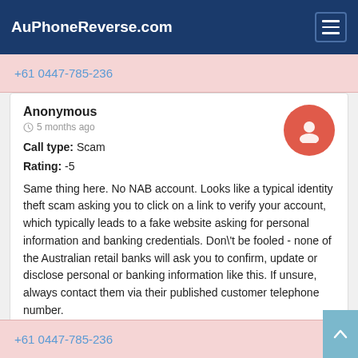AuPhoneReverse.com
+61 0447-785-236
Anonymous
5 months ago
Call type: Scam
Rating: -5
Same thing here. No NAB account. Looks like a typical identity theft scam asking you to click on a link to verify your account, which typically leads to a fake website asking for personal information and banking credentials. Don't be fooled - none of the Australian retail banks will ask you to confirm, update or disclose personal or banking information like this. If unsure, always contact them via their published customer telephone number.
👍 0 - 👎 0
+61 0447-785-236